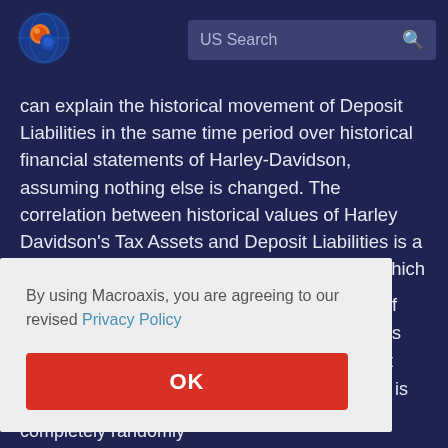[Figure (logo): Macroaxis globe logo with orange and blue coloring]
US Search
can explain the historical movement of Deposit Liabilities in the same time period over historical financial statements of Harley-Davidson, assuming nothing else is changed. The correlation between historical values of Harley Davidson's Tax Assets and Deposit Liabilities is a relative statistical measure of the degree to which these
s of
n its
ent
(0) is
ne
By using Macroaxis, you are agreeing to our revised Privacy Policy
OK
completely randomly